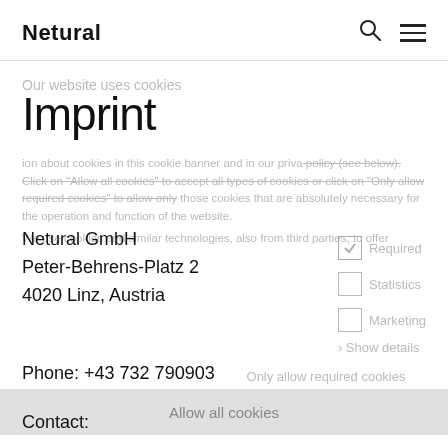Netural
Imprint
Netural GmbH
Peter-Behrens-Platz 2
4020 Linz, Austria
Phone: +43 732 790903
Fax: +43 732 790903-999
Contact: